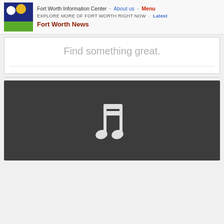Fort Worth Information Center · About us · Menu
EXPLORE MORE OF FORT WORTH RIGHT NOW · Latest
Fort Worth News
Find something great.
[Figure (illustration): Dark grey rectangle containing a white music note icon (double eighth note) centered in the block.]